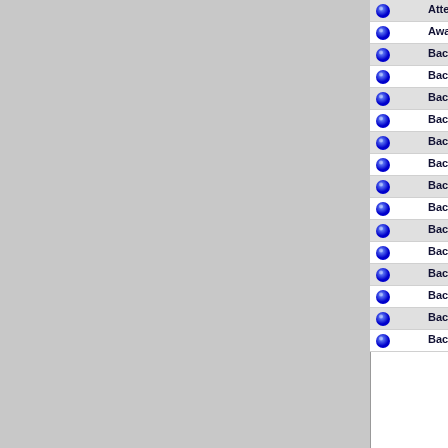|  | Title | Publication | Date |
| --- | --- | --- | --- |
| • | Attention: Engine Failure Due to Fuel Starvation (Note) | Sport Aviation | 1/1972 |
| • | Award Winning Pitts 'Special' | Sport Aviation | 06/1967 |
| • | Back Cover | Sport Aerobatics | 1/1979 |
| • | Back Cover | Sport Aerobatics | 8/1978 |
| • | Back Cover | Sport Aerobatics | 3/1978 |
| • | Back Cover: Andrew's S-1T at Fond du Lac | Sport Aerobatics | 10/1990 |
| • | Back Cover: Arlie Titel's S-1C | Sport Aerobatics | 9/1989 |
| • | Back Cover: Brancik Pitts (painting) | Sport Aviation | 1/1981 |
| • | Back Cover: Dave Green's S-1 Over Camarillo, CA | Sport Aerobatics | 6/1988 |
| • | Back Cover: Haigh Pitts | Sport Aerobatics | 5/1990 |
| • | Back Cover: Jardine S-1S Over California | Sport Aerobatics | 9/1990 |
| • | Back Cover: Johnny Blount and His Pitts S-1 | Sport Aerobatics | 12/1986 |
| • | Back Cover: Mike Nelson's Pitts S1S | Sport Aerobatics | 6/1981 |
| • | Back Cover: Mike Staunter's S1T | Sport Aerobatics | 10/1986 |
| • | Back Cover: Newt Phillips' S-1 | Sport Aerobatics | 4/1982 |
| • | Back Cover: Peter | Sport | 3/1984 |